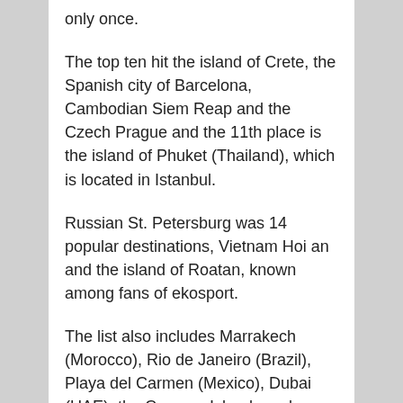only once.
The top ten hit the island of Crete, the Spanish city of Barcelona, Cambodian Siem Reap and the Czech Prague and the 11th place is the island of Phuket (Thailand), which is located in Istanbul.
Russian St. Petersburg was 14 popular destinations, Vietnam Hoi an and the island of Roatan, known among fans of ekosport.
The list also includes Marrakech (Morocco), Rio de Janeiro (Brazil), Playa del Carmen (Mexico), Dubai (UAE), the Cayman Islands and Kathmandu.